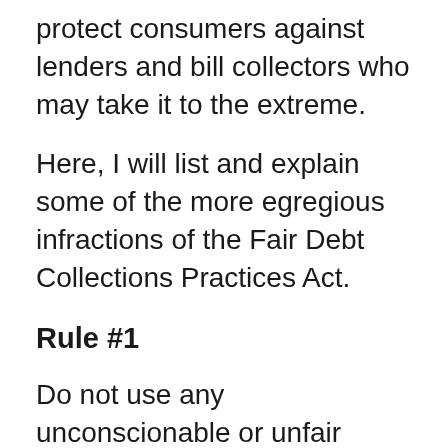protect consumers against lenders and bill collectors who may take it to the extreme.
Here, I will list and explain some of the more egregious infractions of the Fair Debt Collections Practices Act.
Rule #1
Do not use any unconscionable or unfair means to collect a debt.What does this mean? It means you, as a debt collector cannot be deceptive, abusive or in any other way fraudulent or harassing in order to collect money. Limit your number of calls, be kind in